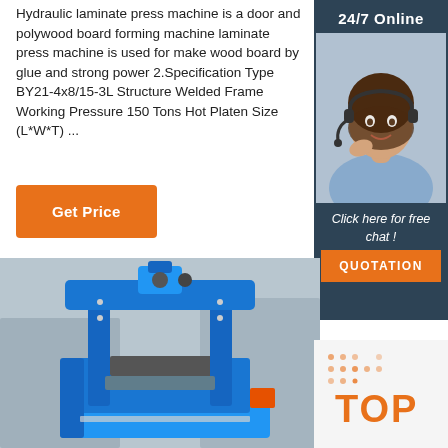Hydraulic laminate press machine is a door and polywood board forming machine laminate press machine is used for make wood board by glue and strong power 2.Specification Type BY21-4x8/15-3L Structure Welded Frame Working Pressure 150 Tons Hot Platen Size (L*W*T) ...
[Figure (other): Orange 'Get Price' button]
[Figure (infographic): Dark sidebar with '24/7 Online' badge, female customer service agent photo with headset, 'Click here for free chat!' text, and orange QUOTATION button]
[Figure (photo): Blue hydraulic laminate press machine in a factory/workshop setting]
[Figure (logo): Orange and red 'TOP' badge/logo with dot pattern in bottom right corner]